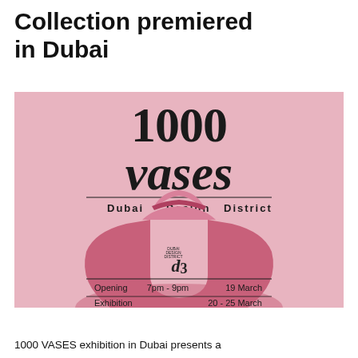Collection premiered in Dubai
[Figure (illustration): Promotional poster for 1000 VASES exhibition at Dubai Design District. Pink background with a pink vase centered. Large bold text reads '1000 vases' at the top. Below a horizontal line: 'Dubai Design District'. A d3 logo is on the vase. Below another horizontal line: event details — Opening 7pm - 9pm 19 March; Exhibition 20 - 25 March.]
1000 VASES exhibition in Dubai presents a